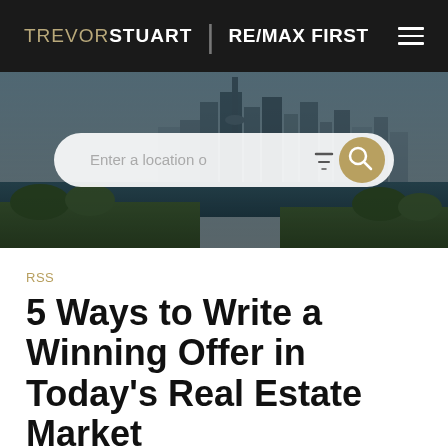TREVOR STUART | RE/MAX FIRST
[Figure (photo): Aerial photo of Calgary city skyline with river and parkland in foreground, with a search bar overlay reading 'Enter a location o' with filter and search icons]
RSS
5 Ways to Write a Winning Offer in Today's Real Estate Market
Posted on May 9, 2022 by Trevor Stuart